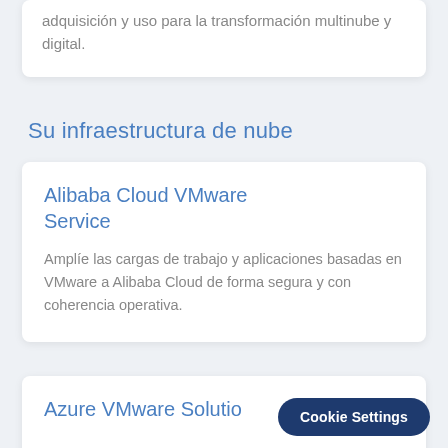adquisición y uso para la transformación multinube y digital.
Su infraestructura de nube
Alibaba Cloud VMware Service
Amplíe las cargas de trabajo y aplicaciones basadas en VMware a Alibaba Cloud de forma segura y con coherencia operativa.
Azure VMware Solutio…
Cookie Settings